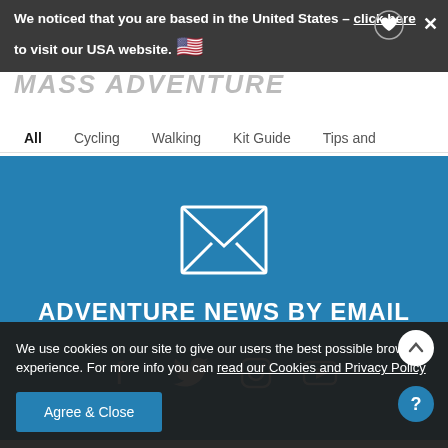We noticed that you are based in the United States - click here to visit our USA website.
All  Cycling  Walking  Kit Guide  Tips and
[Figure (illustration): White envelope/email icon on blue background]
ADVENTURE NEWS BY EMAIL
[Figure (illustration): Social media icons: Facebook, Twitter, Instagram, YouTube]
We use cookies on our site to give our users the best possible browsing experience. For more info you can read our Cookies and Privacy Policy
Agree & Close